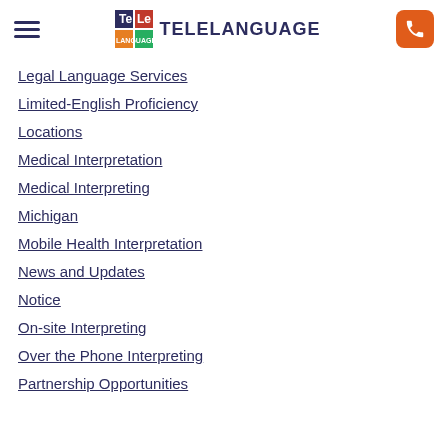TELELANGUAGE
Legal Language Services
Limited-English Proficiency
Locations
Medical Interpretation
Medical Interpreting
Michigan
Mobile Health Interpretation
News and Updates
Notice
On-site Interpreting
Over the Phone Interpreting
Partnership Opportunities